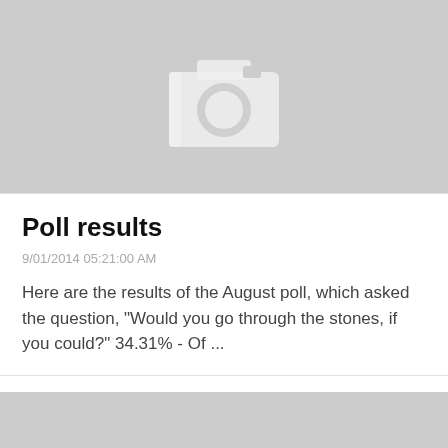[Figure (photo): Gray placeholder image with a white camera icon in the center, representing a missing or unloaded photo.]
Poll results
9/01/2014 05:21:00 AM
Here are the results of the August poll, which asked the question, "Would you go through the stones, if you could?" 34.31% - Of ...
[Figure (photo): Partial gray placeholder image at the bottom of the page, cut off.]